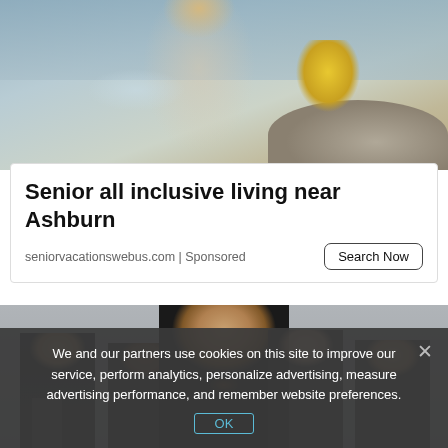[Figure (photo): Top portion of a photo showing a woman outdoors near water/rocks, with blurred background, wearing light blue top and yellow clothing visible]
Senior all inclusive living near Ashburn
seniorvacationswebus.com | Sponsored
Search Now
[Figure (photo): Group of business professionals smiling at camera, center man with beard prominent, others blurred in background, against light grey wall]
We and our partners use cookies on this site to improve our service, perform analytics, personalize advertising, measure advertising performance, and remember website preferences.
OK